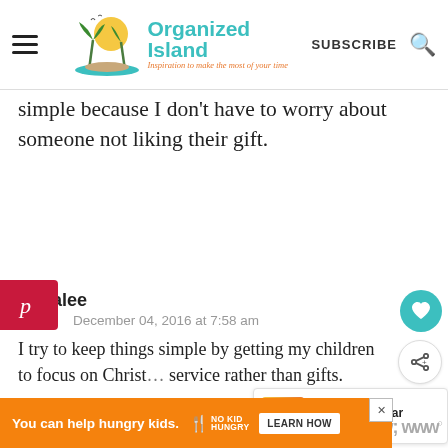Organized Island — Inspiration to make the most of your time | SUBSCRIBE
simple because I don't have to worry about someone not liking their gift.
Danalee
December 04, 2016 at 7:58 am

I try to keep things simple by getting my children to focus on Christ... service rather than gifts.
You can help hungry kids. NO KID HUNGRY LEARN HOW